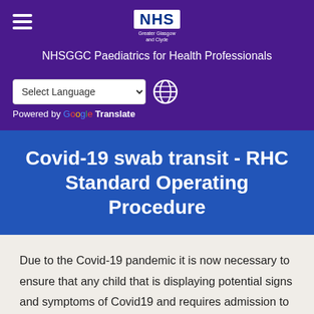NHSGGC Paediatrics for Health Professionals
Select Language | Powered by Google Translate
Covid-19 swab transit - RHC Standard Operating Procedure
Due to the Covid-19 pandemic it is now necessary to ensure that any child that is displaying potential signs and symptoms of Covid19 and requires admission to Royal Hospital for Children as well as any child undergoing either elective or emergent surgery is swabbed for Covid-19. This standard